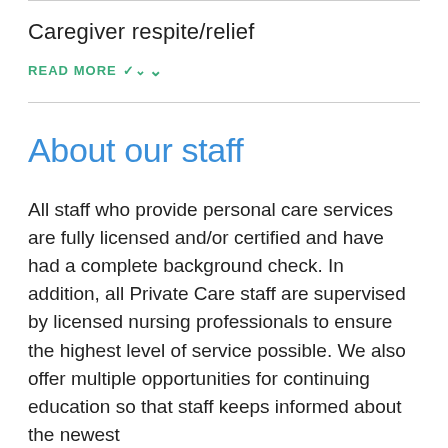Caregiver respite/relief
READ MORE ▾
About our staff
All staff who provide personal care services are fully licensed and/or certified and have had a complete background check. In addition, all Private Care staff are supervised by licensed nursing professionals to ensure the highest level of service possible. We also offer multiple opportunities for continuing education so that staff keeps informed about the newest